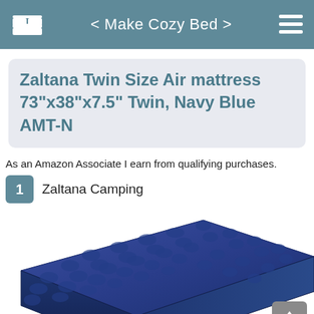< Make Cozy Bed >
Zaltana Twin Size Air mattress 73"x38"x7.5" Twin, Navy Blue AMT-N
As an Amazon Associate I earn from qualifying purchases.
1  Zaltana Camping
[Figure (photo): Navy blue Zaltana twin size air mattress shown at an angle, with a flocked top surface featuring a dimpled/tufted pattern, against a white background.]